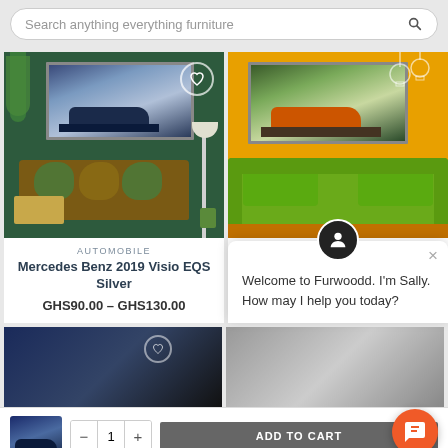[Figure (screenshot): Search bar with placeholder text 'Search anything everything furniture' and search icon]
[Figure (photo): Product listing card: furniture room scene with dark green wall, wooden bench with floral pillows, car artwork on wall. Heart/wishlist button in top right corner.]
AUTOMOBILE
Mercedes Benz 2019 Visio EQS Silver
GHS90.00 – GHS130.00
[Figure (photo): Product listing card: orange room with green sofa, orange rug, car artwork on wall, light bulb pendant decorations. Heart/wishlist button in top right corner.]
Welcome to Furwoodd. I'm Sally. How may I help you today?
[Figure (screenshot): Bottom strip showing two partially visible product images]
[Figure (screenshot): Cart bar at bottom with product thumbnail, quantity selector showing 1, and ADD TO CART button. Orange chat bubble button in bottom right.]